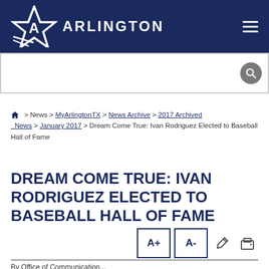[Figure (logo): City of Arlington Texas logo with star icon and ARLINGTON text on dark navy header]
Search input bar with search icon
🏠 > News > MyArlingtonTX > News Archive > 2017 Archived News > January 2017 > Dream Come True: Ivan Rodriguez Elected to Baseball Hall of Fame
DREAM COME TRUE: IVAN RODRIGUEZ ELECTED TO BASEBALL HALL OF FAME
A+ A- share print buttons
By Office of Communication...